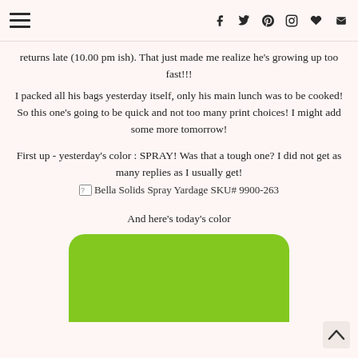Navigation and social media icons header
returns late (10.00 pm ish). That just made me realize he's growing up too fast!!!
I packed all his bags yesterday itself, only his main lunch was to be cooked! So this one's going to be quick and not too many print choices! I might add some more tomorrow!
First up - yesterday's color : SPRAY! Was that a tough one? I did not get as many replies as I usually get!
[Figure (other): Broken image placeholder for Bella Solids Spray Yardage SKU# 9900-263]
And here's today's color
[Figure (photo): Green rounded rectangle fabric swatch showing today's color (bright lime green)]